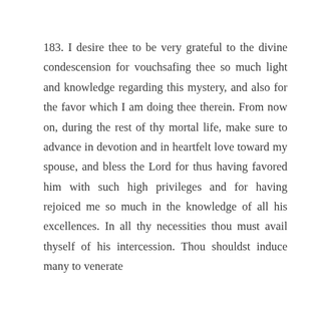183. I desire thee to be very grateful to the divine condescension for vouchsafing thee so much light and knowledge regarding this mystery, and also for the favor which I am doing thee therein. From now on, during the rest of thy mortal life, make sure to advance in devotion and in heartfelt love toward my spouse, and bless the Lord for thus having favored him with such high privileges and for having rejoiced me so much in the knowledge of all his excellences. In all thy necessities thou must avail thyself of his intercession. Thou shouldst induce many to venerate